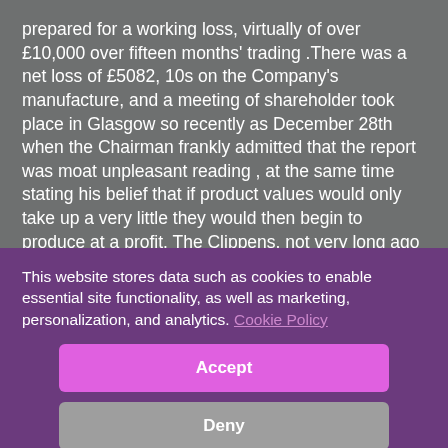prepared for a working loss, virtually of over £10,000 over fifteen months' trading .There was a net loss of £5082, 10s on the Company's manufacture, and a meeting of shareholder took place in Glasgow so recently as December 28th when the Chairman frankly admitted that the report was moat unpleasant reading , at the same time stating his belief that if product values would only take up a very little they would then begin to produce at a profit. The Clippens, not very long ago paid good dividends regularly
This website stores data such as cookies to enable essential site functionality, as well as marketing, personalization, and analytics. Cookie Policy
Accept
Deny